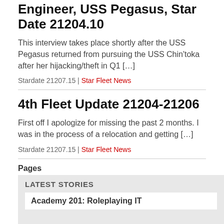Engineer, USS Pegasus, Star Date 21204.10
This interview takes place shortly after the USS Pegasus returned from pursuing the USS Chin'toka after her hijacking/theft in Q1 […]
Stardate 21207.15 | Star Fleet News
4th Fleet Update 21204-21206
First off I apologize for missing the past 2 months.  I was in the process of a relocation and getting […]
Stardate 21207.15 | Star Fleet News
Pages
1  2  Next
LATEST STORIES
Academy 201: Roleplaying IT